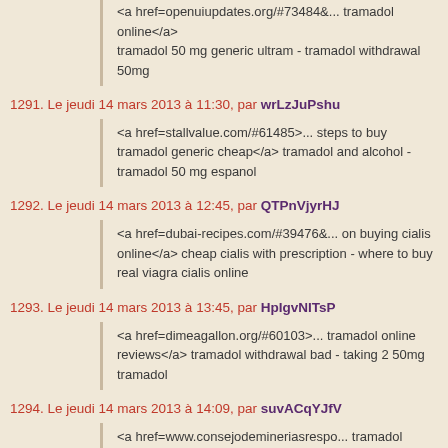<a href=openuiupdates.org/#73484&... tramadol online</a> tramadol 50 mg generic ultram - tramadol withdrawal 50mg
1291. Le jeudi 14 mars 2013 à 11:30, par wrLzJuPshu
<a href=stallvalue.com/#61485>... steps to buy tramadol generic cheap</a> tramadol and alcohol - tramadol 50 mg espanol
1292. Le jeudi 14 mars 2013 à 12:45, par QTPnVjyrHJ
<a href=dubai-recipes.com/#39476&... on buying cialis online</a> cheap cialis with prescription - where to buy real viagra cialis online
1293. Le jeudi 14 mars 2013 à 13:45, par HpIgvNITsP
<a href=dimeagallon.org/#60103>... tramadol online reviews</a> tramadol withdrawal bad - taking 2 50mg tramadol
1294. Le jeudi 14 mars 2013 à 14:09, par suvACqYJfV
<a href=www.consejodemineriasrespo... tramadol online</a>